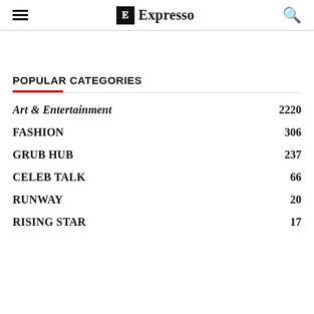Expresso
POPULAR CATEGORIES
Art & Entertainment 2220
FASHION 306
GRUB HUB 237
CELEB TALK 66
RUNWAY 20
RISING STAR 17